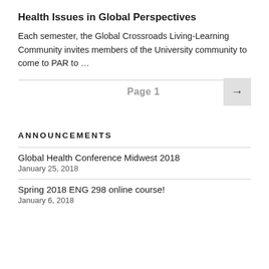Health Issues in Global Perspectives
Each semester, the Global Crossroads Living-Learning Community invites members of the University community to come to PAR to …
Page 1 →
ANNOUNCEMENTS
Global Health Conference Midwest 2018
January 25, 2018
Spring 2018 ENG 298 online course!
January 6, 2018